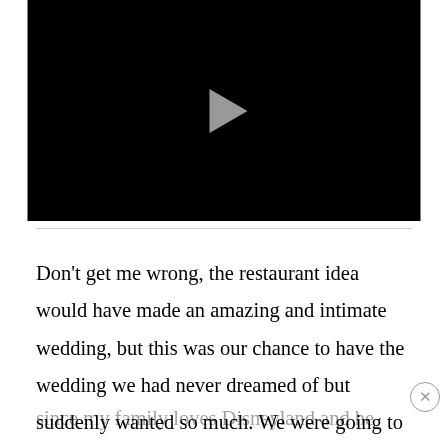[Figure (screenshot): Black video player with a light gray play button triangle in the center]
Don't get me wrong, the restaurant idea would have made an amazing and intimate wedding, but this was our chance to have the wedding we had never dreamed of but suddenly wanted so much. We were going to have a big-honking wedding at the happiest place on earth. Michael suggested we have it there since my family loves Disneyland and he claims my mother, my sister and I were ogling a display for